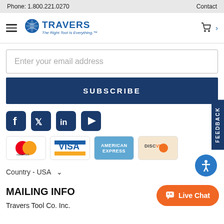Phone: 1.800.221.0270    Contact
[Figure (logo): Travers Tool Co. logo with tagline 'The Right Tool Is Everything.']
Enter your email address
SUBSCRIBE
[Figure (illustration): Social media icons: Facebook, Twitter, LinkedIn, YouTube]
[Figure (illustration): Payment method logos: Mastercard, Visa, American Express, Discover]
Country - USA
MAILING INFO
Travers Tool Co. Inc.